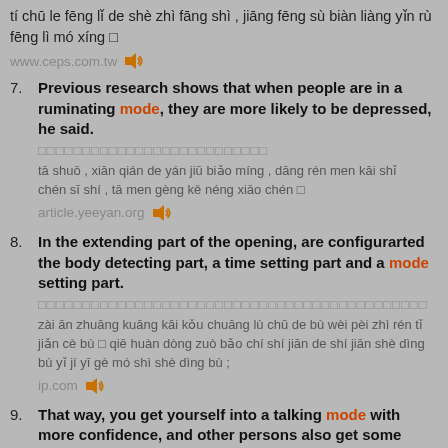tí chū le fēng lǐ de shè zhì fāng shì , jiāng fēng sù biàn liàng yǐn rù fēng lì mó xíng □
www.ceps.com.tw
7. Previous research shows that when people are in a ruminating mode, they are more likely to be depressed, he said.
□□□□□□□□□□□□□□□□□□□□□□□□□□
tā shuō , xiān qián de yán jiū biǎo míng , dāng rén men kāi shǐ chén sī shí , tā men gèng kě néng xiāo chén □
article.yeeyan.org
8. In the extending part of the opening, are configurarted the body detecting part, a time setting part and a mode setting part.
□□□□□□□□□□□□□□□□□□□□□□□□□□□□□□□□□□□□□□□□□□□□
zài ān zhuāng kuāng kāi kǒu chuāng lù chū de bù wèi pèi zhì rén tǐ jiǎn cè bù □ qiē huàn dòng zuò bǎo chí shí jiān de shí jiān shè dìng bù yǐ jí yī gè mó shì shè dìng bù ;
ip.com
9. That way, you get yourself into a talking mode with more confidence, and other persons also get some acquaintance with you.